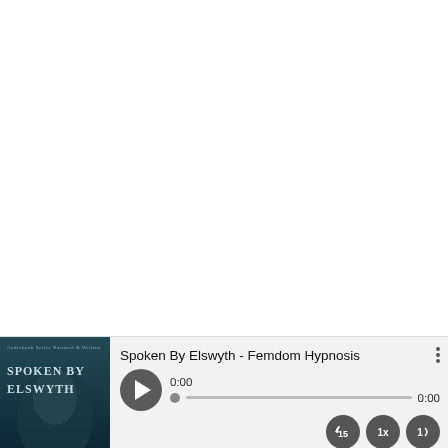[Figure (screenshot): Audio player UI at the bottom of the screen showing 'Spoken By Elswyth - Femdom Hypnosis' with album art, play button, progress bar at 0:00, and playback controls (skip 15s, 1x speed, volume)]